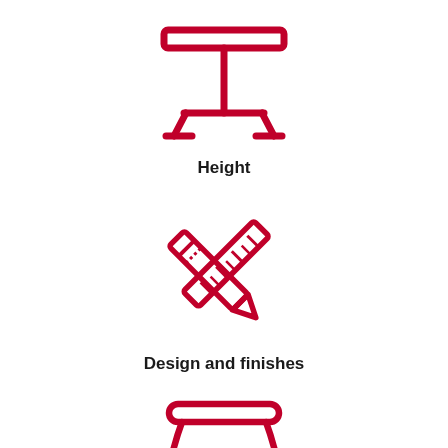[Figure (illustration): Red line icon of a pedestal table viewed from front, with wide flat top surface and T-shaped stem with wide base]
Height
[Figure (illustration): Red line icon of crossed pencil and ruler forming an X shape]
Design and finishes
[Figure (illustration): Red line icon of a stool or low table with curved legs and a horizontal bar between the legs]
Size and shape